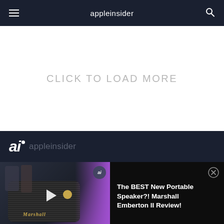appleinsider
CLICK TO LOAD MORE
[Figure (logo): AppleInsider logo: bold italic 'ai' with dot and 'appleinsider' wordmark in dark footer]
[Figure (screenshot): Video thumbnail showing Marshall Emberton II speaker with play button, AI badge, purple gradient, and close button. Title text reads: The BEST New Portable Speaker?! Marshall Emberton II Review!]
The BEST New Portable Speaker?! Marshall Emberton II Review!